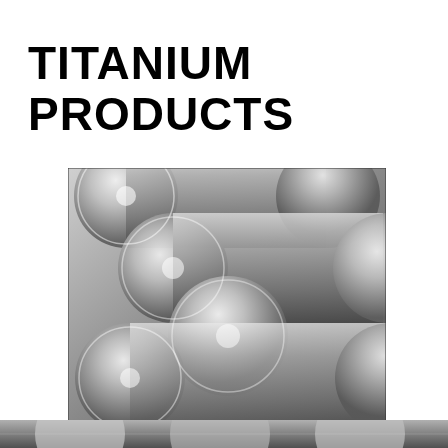TITANIUM PRODUCTS
[Figure (photo): Close-up photograph of multiple polished titanium cylindrical rods/bars stacked together, showing their circular cross-sections with reflective metallic surfaces, in black and white/grayscale.]
[Figure (photo): Partial view of additional titanium rods at the bottom of the page, cropped.]